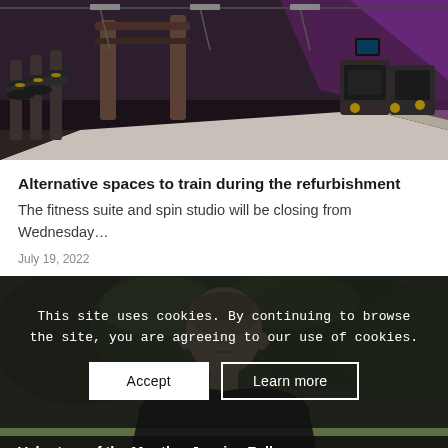[Figure (photo): Interior of a gym showing weightlifting equipment, barbells on racks, and cardio machines with purple accent lighting]
Alternative spaces to train during the refurbishment
The fitness suite and spin studio will be closing from Wednesday…
July 19, 2022
[Figure (photo): Young woman athlete outdoors with green trees in background, wearing dark clothes]
This site uses cookies. By continuing to browse the site, you are agreeing to our use of cookies.
Accept
Learn more
Volunteer of the Month – Jessica Fullagar